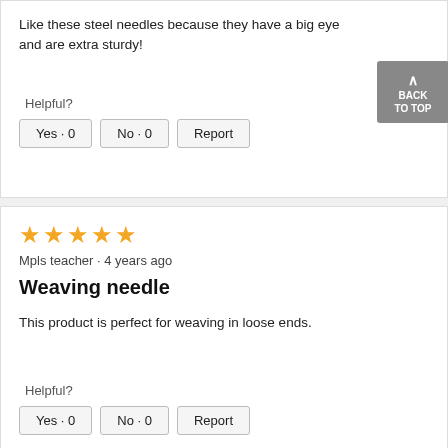Like these steel needles because they have a big eye and are extra sturdy!
Helpful?
Yes · 0   No · 0   Report
★★★★★
Mpls teacher · 4 years ago
Weaving needle
This product is perfect for weaving in loose ends.
Helpful?
Yes · 0   No · 0   Report